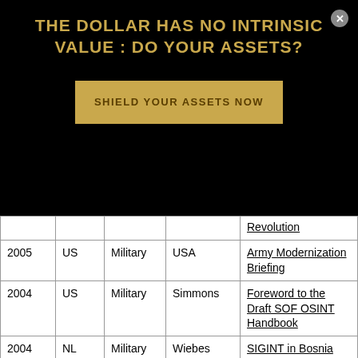THE DOLLAR HAS NO INTRINSIC VALUE : DO YOUR ASSETS?
SHIELD YOUR ASSETS NOW
| Year | Country | Category | Author | Title |
| --- | --- | --- | --- | --- |
|  |  |  |  | Revolution |
| 2005 | US | Military | USA | Army Modernization Briefing |
| 2004 | US | Military | Simmons | Foreword to the Draft SOF OSINT Handbook |
| 2004 | NL | Military | Wiebes | SIGINT in Bosnia |
| 2003 | US | Military | Hardee | OSINT in Support of Special Operations |
| 2003 | US | Military | Harrison | OSINT Requirements, |